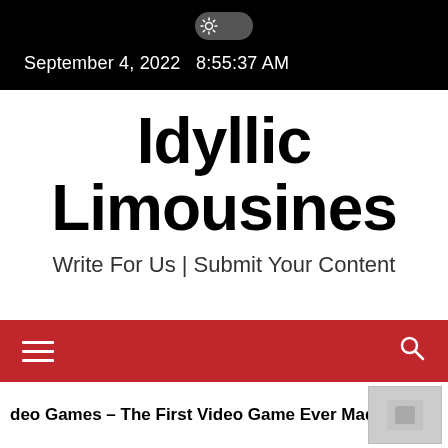September 4, 2022  8:55:37 AM
Idyllic Limousines
Write For Us | Submit Your Content
[Figure (screenshot): Red navigation bar with hamburger menu icon on left and search icon on right]
deo Games – The First Video Game Ever Made?